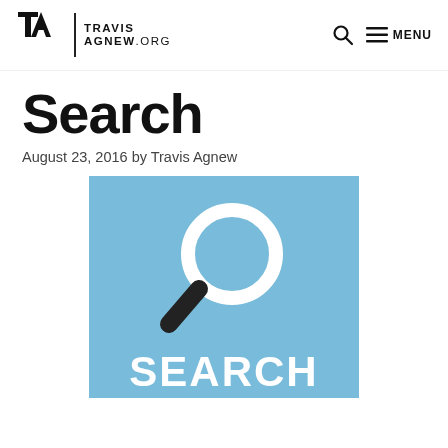TRAVIS AGNEW .ORG
Search
August 23, 2016 by Travis Agnew
[Figure (illustration): Blue square with a white magnifying glass icon and bold white text 'SEARCH' at the bottom]